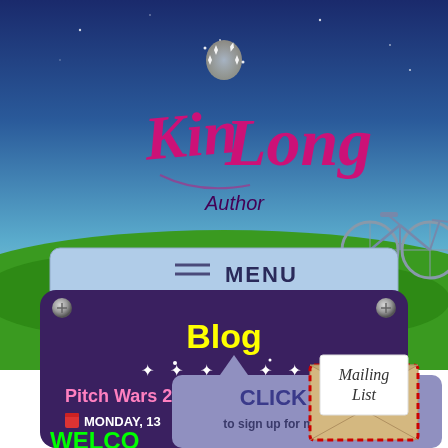[Figure (screenshot): Screenshot of Kim Long Author website showing logo with lightbulb, blue sky background with grass, bicycle, menu bar, blog section on dark purple board with stars, Pitch Wars 2018! post title, and mailing list signup overlay with envelope graphic]
Kim Long Author
MENU
Blog
Pitch Wars 2018!
MONDAY, 13
WELCO
CLICK HERE to sign up for my mailing list!
Mailing List